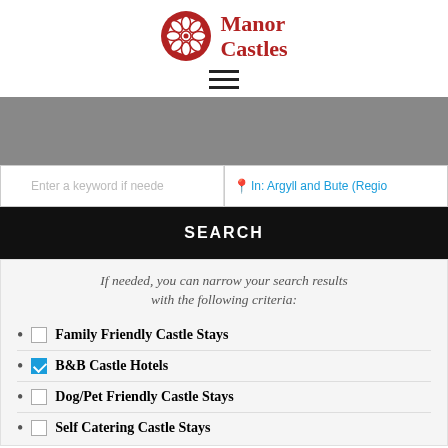[Figure (logo): Manor Castles logo: red circle with white flower/snowflake icon, next to red serif text 'Manor Castles']
[Figure (other): Hamburger menu icon (three horizontal lines)]
[Figure (other): Gray banner/hero image placeholder]
Enter a keyword if needed
In: Argyll and Bute (Regio
SEARCH
If needed, you can narrow your search results with the following criteria:
Family Friendly Castle Stays
B&B Castle Hotels
Dog/Pet Friendly Castle Stays
Self Catering Castle Stays